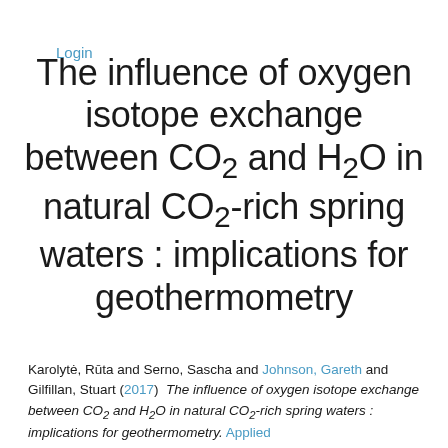Login
The influence of oxygen isotope exchange between CO2 and H2O in natural CO2-rich spring waters : implications for geothermometry
Karolytė, Rūta and Serno, Sascha and Johnson, Gareth and Gilfillan, Stuart (2017) The influence of oxygen isotope exchange between CO2 and H2O in natural CO2-rich spring waters : implications for geothermometry. Applied